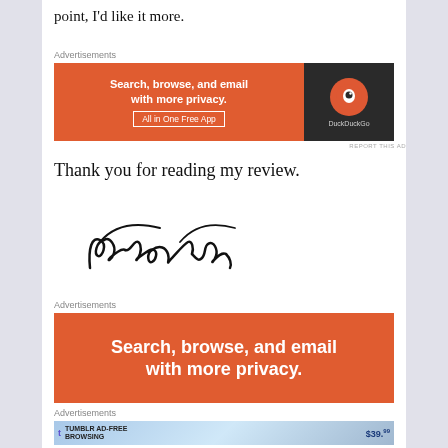point, I'd like it more.
[Figure (other): DuckDuckGo advertisement banner: orange section with text 'Search, browse, and email with more privacy. All in One Free App' and dark section with DuckDuckGo logo]
Thank you for reading my review.
[Figure (other): Handwritten signature reading 'Samantha']
[Figure (other): DuckDuckGo advertisement banner: orange background with text 'Search, browse, and email with more privacy.']
[Figure (other): Tumblr Ad-Free Browsing advertisement: $39.99 a year or $4.99 a month]